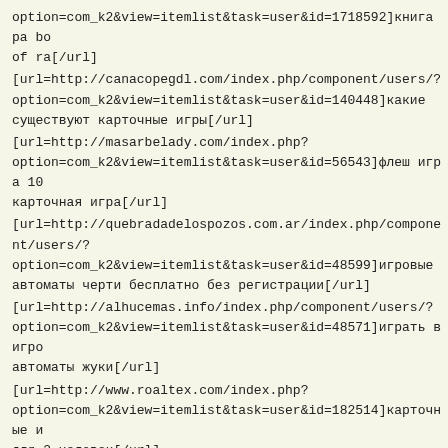option=com_k2&view=itemlist&task=user&id=1718592]книга ра bo of ra[/url]
[url=http://canacopegdl.com/index.php/component/users/?option=com_k2&view=itemlist&task=user&id=140448]какие существуют карточные игры[/url]
[url=http://masarbelady.com/index.php?option=com_k2&view=itemlist&task=user&id=56543]флеш игра 10 карточная игра[/url]
[url=http://quebradadelospozos.com.ar/index.php/component/users/?option=com_k2&view=itemlist&task=user&id=48599]игровые автоматы черти бесплатно без регистрации[/url]
[url=http://alhucemas.info/index.php/component/users/?option=com_k2&view=itemlist&task=user&id=48571]играть в игровые автоматы жуки[/url]
[url=http://www.roaltex.com/index.php?option=com_k2&view=itemlist&task=user&id=182514]карточные игры для 2 человек[/url]
[url=http://sexshoponline.kz/index.php/component/users/?option=com_k2&view=itemlist&task=user&id=335037]двадцать одна карточная игра[/url]